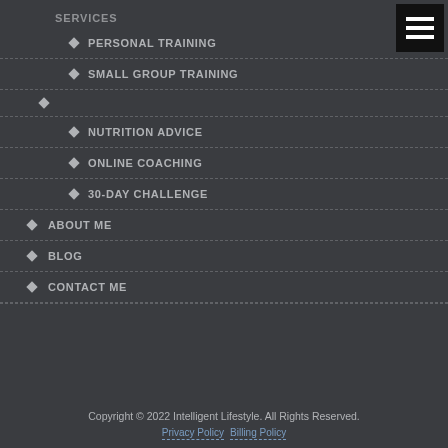SERVICES
PERSONAL TRAINING
SMALL GROUP TRAINING
NUTRITION ADVICE
ONLINE COACHING
30-DAY CHALLENGE
ABOUT ME
BLOG
CONTACT ME
Copyright © 2022 Intelligent Lifestyle. All Rights Reserved. Privacy Policy  Billing Policy